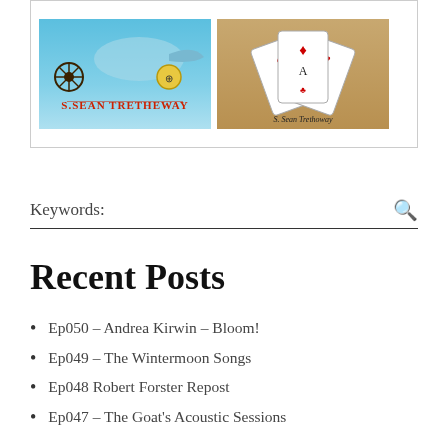[Figure (illustration): Two album covers by S. Sean Tretheway side by side inside a bordered box. Left cover shows a nautical/ocean theme with a ship's wheel, compass, and text 'S. Sean Tretheway' in red. Right cover shows playing cards (royal/face cards) fanned out with text 'S. Sean Tretheway' at the bottom.]
Keywords:
Recent Posts
Ep050 – Andrea Kirwin – Bloom!
Ep049 – The Wintermoon Songs
Ep048 Robert Forster Repost
Ep047 – The Goat's Acoustic Sessions